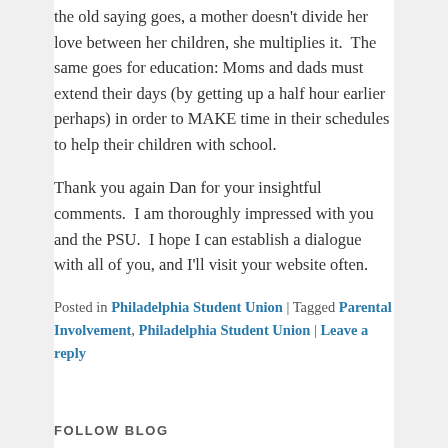the old saying goes, a mother doesn't divide her love between her children, she multiplies it.  The same goes for education: Moms and dads must extend their days (by getting up a half hour earlier perhaps) in order to MAKE time in their schedules to help their children with school.
Thank you again Dan for your insightful comments.  I am thoroughly impressed with you and the PSU.  I hope I can establish a dialogue with all of you, and I'll visit your website often.
Posted in Philadelphia Student Union | Tagged Parental Involvement, Philadelphia Student Union | Leave a reply
FOLLOW BLOG
Enter your email address to follow this blog and receive notifications of new posts by email.